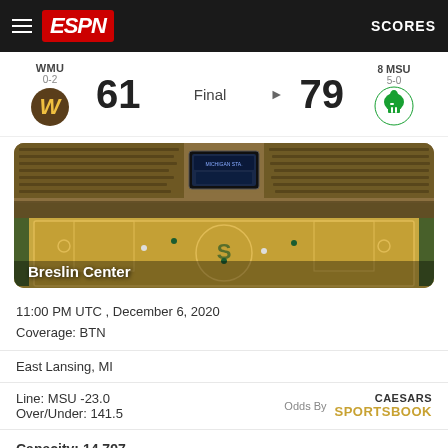ESPN — SCORES
WMU 0-2  61  Final  79  8 MSU 5-0
[Figure (photo): Breslin Center basketball arena interior showing packed crowd and court with Michigan State spartan logo at center court]
11:00 PM UTC , December 6, 2020
Coverage: BTN
East Lansing, MI
Line: MSU -23.0
Over/Under: 141.5
Odds By CAESARS SPORTSBOOK
Capacity: 14,797